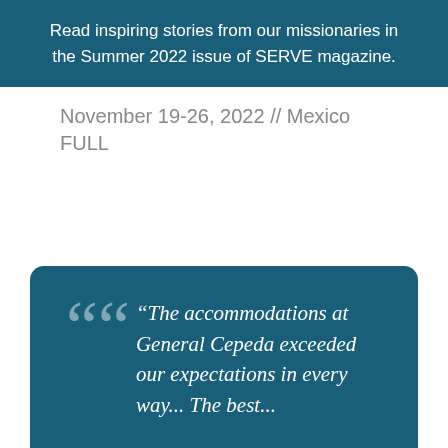Read inspiring stories from our missionaries in the Summer 2022 issue of SERVE magazine.
November 19-26, 2022 // Mexico
FULL
“The accommodations at General Cepeda exceeded our expectations in every way... The best...